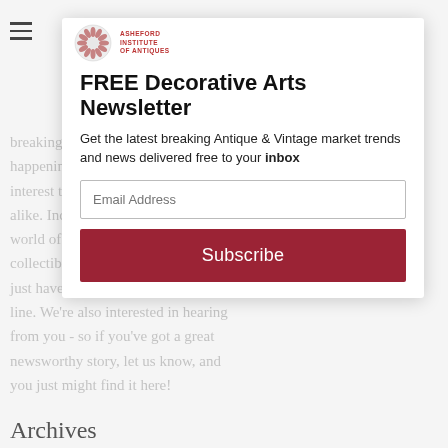ASHEFORD INSTITUTE OF ANTIQUES
FREE Decorative Arts Newsletter
Get the latest breaking Antique & Vintage market trends and news delivered free to your inbox
Email Address
Subscribe
breaking news on events and happenings that we think might be of interest to both collectors and traders alike. Including changes within the world of antiques, vintage, collectibles and appraising that might just have an effect on your bottom line. We're also interested in hearing from you - so if you've got a great newsworthy story, let us know, and you just might find it here!
Archives